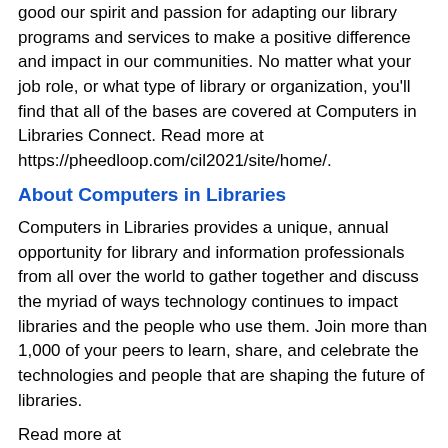good our spirit and passion for adapting our library programs and services to make a positive difference and impact in our communities. No matter what your job role, or what type of library or organization, you'll find that all of the bases are covered at Computers in Libraries Connect. Read more at https://pheedloop.com/cil2021/site/home/.
About Computers in Libraries
Computers in Libraries provides a unique, annual opportunity for library and information professionals from all over the world to gather together and discuss the myriad of ways technology continues to impact libraries and the people who use them. Join more than 1,000 of your peers to learn, share, and celebrate the technologies and people that are shaping the future of libraries.
Read more at http://computersinlibraries.infotoday.com/2020/Default.aspx
About ByWater Solutions
ByWater Solutions is a full service, high-quality Open Source support and implementation company dedicated to providing libraries with a lower cost, more advanced level of support for their systems than a traditional proprietary solution can offer.